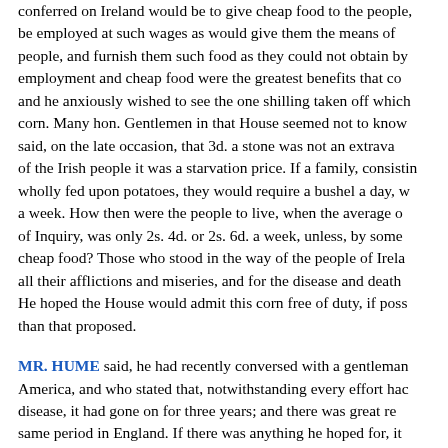conferred on Ireland would be to give cheap food to the people, be employed at such wages as would give them the means of people, and furnish them such food as they could not obtain by employment and cheap food were the greatest benefits that co and he anxiously wished to see the one shilling taken off which corn. Many hon. Gentlemen in that House seemed not to know said, on the late occasion, that 3d. a stone was not an extrava of the Irish people it was a starvation price. If a family, consistin wholly fed upon potatoes, they would require a bushel a day, w a week. How then were the people to live, when the average o of Inquiry, was only 2s. 4d. or 2s. 6d. a week, unless, by some cheap food? Those who stood in the way of the people of Irela all their afflictions and miseries, and for the disease and death He hoped the House would admit this corn free of duty, if poss than that proposed.
MR. HUME said, he had recently conversed with a gentleman America, and who stated that, notwithstanding every effort hac disease, it had gone on for three years; and there was great re same period in England. If there was anything he hoped for, it the hon. Member for Somersetshire. He hoped that the Indian